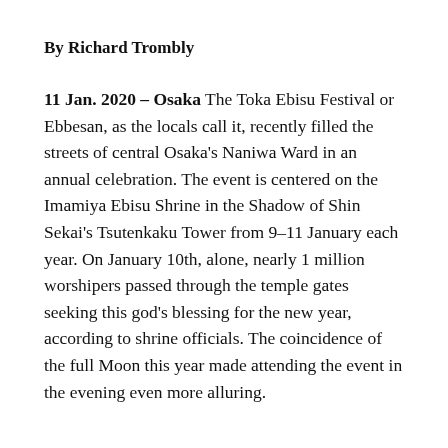By Richard Trombly
11 Jan. 2020 – Osaka The Toka Ebisu Festival or Ebbesan, as the locals call it, recently filled the streets of central Osaka's Naniwa Ward in an annual celebration. The event is centered on the Imamiya Ebisu Shrine in the Shadow of Shin Sekai's Tsutenkaku Tower from 9–11 January each year. On January 10th, alone, nearly 1 million worshipers passed through the temple gates seeking this god's blessing for the new year, according to shrine officials. The coincidence of the full Moon this year made attending the event in the evening even more alluring.